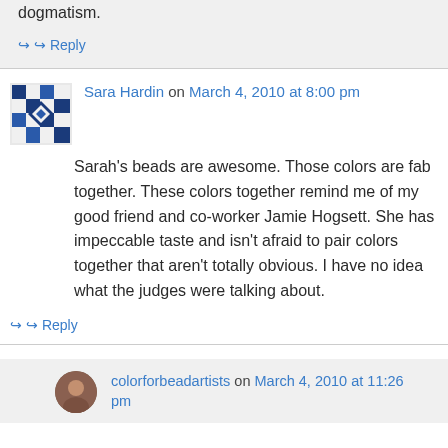dogmatism.
↪ Reply
Sara Hardin on March 4, 2010 at 8:00 pm
Sarah's beads are awesome. Those colors are fab together. These colors together remind me of my good friend and co-worker Jamie Hogsett. She has impeccable taste and isn't afraid to pair colors together that aren't totally obvious. I have no idea what the judges were talking about.
↪ Reply
colorforbeadartists on March 4, 2010 at 11:26 pm